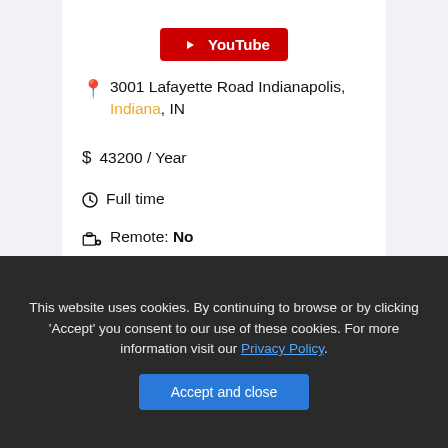[Figure (logo): YouTube button/logo in red with play icon and 'YouTube' text]
3001 Lafayette Road Indianapolis, Indiana, IN
$ 43200 / Year
Full time
Remote: No
Company: Your Car Care Center
This website uses cookies. By continuing to browse or by clicking 'Accept' you consent to our use of these cookies. For more information visit our Privacy Policy.